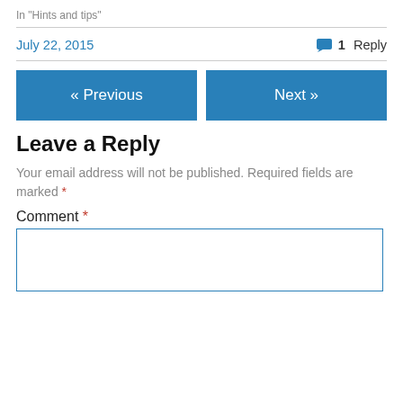In "Hints and tips"
July 22, 2015
1 Reply
« Previous
Next »
Leave a Reply
Your email address will not be published. Required fields are marked *
Comment *